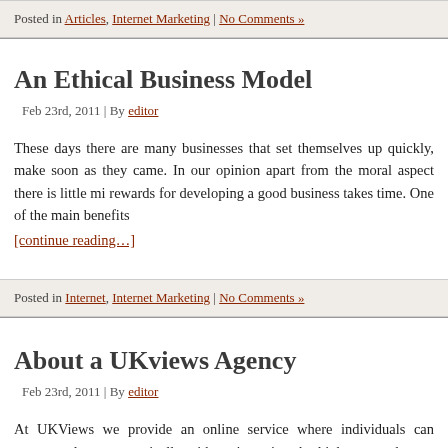Posted in Articles, Internet Marketing | No Comments »
An Ethical Business Model
Feb 23rd, 2011 | By editor
These days there are many businesses that set themselves up quickly, make soon as they came. In our opinion apart from the moral aspect there is little mi rewards for developing a good business takes time. One of the main benefits [continue reading…]
Posted in Internet, Internet Marketing | No Comments »
About a UKviews Agency
Feb 23rd, 2011 | By editor
At UKViews we provide an online service where individuals can operate a loca economically without incurring the high cost and steep learning curve of buildin This way they can put all their efforts into generating income without all the othe